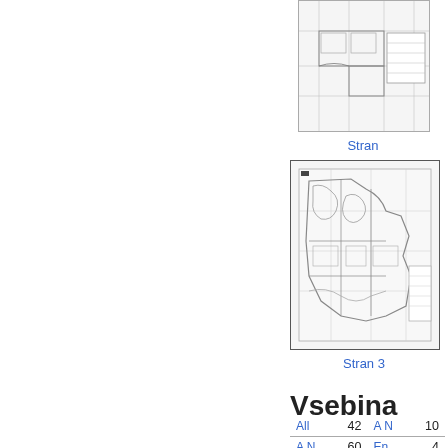[Figure (map): Partial top map thumbnail showing a technical site plan or cadastral map, partially cropped at top of page]
Stran
[Figure (map): Second map thumbnail showing a detailed site/cadastral plan with property boundaries, irregular shapes, and annotation boxes]
Stran 3
Vsebina
| All | 42 | A N | 10 |
| A N | 60 | En | 4 |